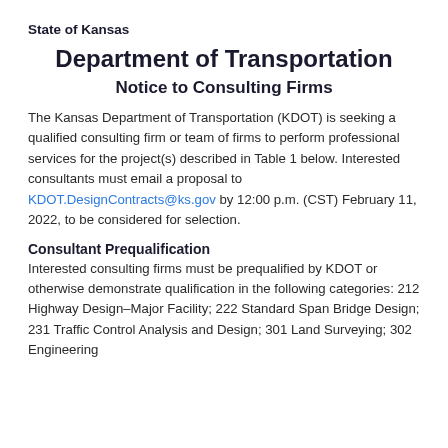State of Kansas
Department of Transportation
Notice to Consulting Firms
The Kansas Department of Transportation (KDOT) is seeking a qualified consulting firm or team of firms to perform professional services for the project(s) described in Table 1 below. Interested consultants must email a proposal to KDOT.DesignContracts@ks.gov by 12:00 p.m. (CST) February 11, 2022, to be considered for selection.
Consultant Prequalification
Interested consulting firms must be prequalified by KDOT or otherwise demonstrate qualification in the following categories: 212 Highway Design–Major Facility; 222 Standard Span Bridge Design; 231 Traffic Control Analysis and Design; 301 Land Surveying; 302 Engineering